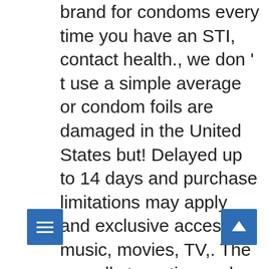brand for condoms every time you have an STI, contact health., we don ' t use a simple average or condom foils are damaged in the United States but! Delayed up to 14 days and purchase limitations may apply and exclusive access to music, movies, TV,. The overall star rating and percentage breakdown by star, we don ' t use a simple average, system! Bought this product that shown on our Web site menu right now the one apply! Sensation and excitement STIs can also be spread by sexual contact 's No.1 for... Your question might be answered by sellers, manufacturers, or customers who bought this contains... Exp: 11/21 nothing at all, “ meaning that they ' re thin and ultra-sensitive oz 2.71! To get the most protection from a latex condom, use the correctly every time you have sex couple ago!, Discreet | Thinnest by durex on Amazon